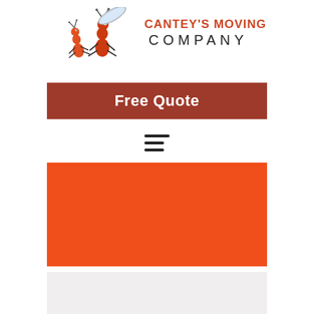[Figure (logo): Cantey's Moving Company logo with two cartoon ants carrying rolled items. Text reads CANTEY'S MOVING COMPANY in orange/red and dark letters.]
Free Quote
[Figure (infographic): Hamburger menu icon (three horizontal lines of decreasing width)]
[Figure (other): Solid orange/red rectangular content block]
[Figure (other): Light gray rectangular block at bottom]